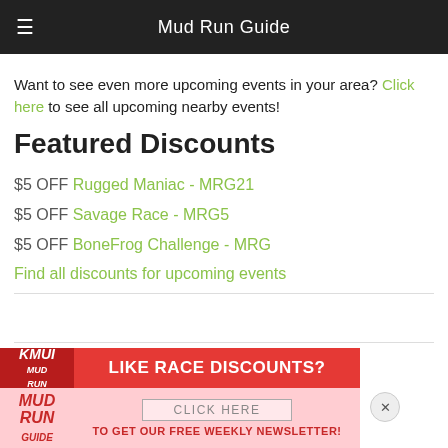Mud Run Guide
Want to see even more upcoming events in your area? Click here to see all upcoming nearby events!
Featured Discounts
$5 OFF Rugged Maniac - MRG21
$5 OFF Savage Race - MRG5
$5 OFF BoneFrog Challenge - MRG
Find all discounts for upcoming events
[Figure (infographic): Advertisement banner: Mud Run Guide logo on left, red background with 'LIKE RACE DISCOUNTS?' headline, pink background below with 'CLICK HERE' button and 'TO GET OUR FREE WEEKLY NEWSLETTER!' text, close button on right]